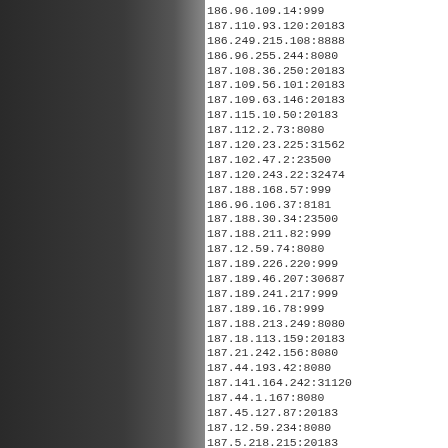186.96.109.14:999
187.110.93.120:20183
186.249.215.108:8888
186.96.255.244:8080
187.108.36.250:20183
187.109.56.101:20183
187.109.63.146:20183
187.115.10.50:20183
187.112.2.73:8080
187.120.23.225:31562
187.102.47.2:23500
187.120.243.22:32474
187.188.168.57:999
186.96.106.37:8181
187.188.30.34:23500
187.188.211.82:999
187.12.59.74:8080
187.189.226.220:999
187.189.46.207:30687
187.189.241.217:999
187.189.16.78:999
187.188.213.249:8080
187.18.113.159:20183
187.21.242.156:8080
187.44.193.42:8080
187.141.164.242:31120
187.44.1.167:8080
187.45.127.87:20183
187.12.59.234:8080
187.5.218.215:20183